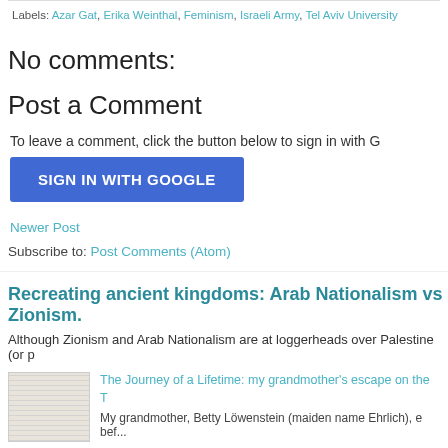Labels: Azar Gat, Erika Weinthal, Feminism, Israeli Army, Tel Aviv University
No comments:
Post a Comment
To leave a comment, click the button below to sign in with G
SIGN IN WITH GOOGLE
Newer Post
Subscribe to: Post Comments (Atom)
Recreating ancient kingdoms: Arab Nationalism vs Zionism.
Although Zionism and Arab Nationalism are at loggerheads over Palestine (or p
The Journey of a Lifetime: my grandmother's escape on the T
My grandmother, Betty Löwenstein (maiden name Ehrlich), e bef...